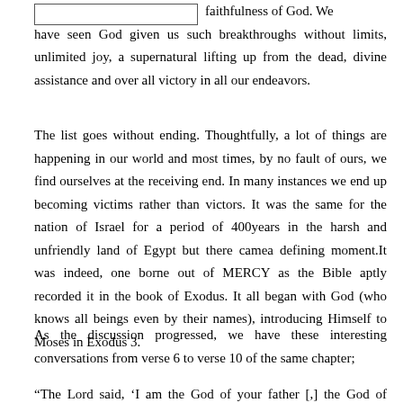faithfulness of God. We have seen God given us such breakthroughs without limits, unlimited joy, a supernatural lifting up from the dead, divine assistance and over all victory in all our endeavors.
The list goes without ending. Thoughtfully, a lot of things are happening in our world and most times, by no fault of ours, we find ourselves at the receiving end. In many instances we end up becoming victims rather than victors. It was the same for the nation of Israel for a period of 400years in the harsh and unfriendly land of Egypt but there camea defining moment.It was indeed, one borne out of MERCY as the Bible aptly recorded it in the book of Exodus. It all began with God (who knows all beings even by their names), introducing Himself to Moses in Exodus 3.
As the discussion progressed, we have these interesting conversations from verse 6 to verse 10 of the same chapter;
“The Lord said, ‘I am the God of your father [,] the God of Abraham...